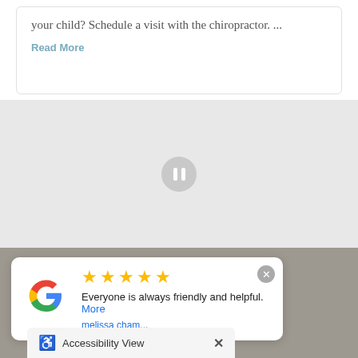your child? Schedule a visit with the chiropractor. ...
Read More
[Figure (other): Gray slide area with pause button (circle with two vertical bars)]
Newsletter Sign Up
Sign up for more articles
[Figure (other): Google review card with 5 stars, text 'Everyone is always friendly and helpful. More', reviewer name 'melissa cham...']
Accessibility View